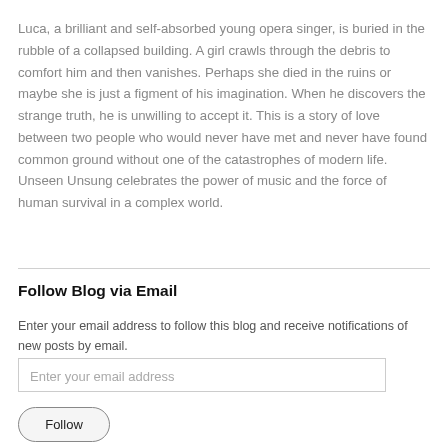Luca, a brilliant and self-absorbed young opera singer, is buried in the rubble of a collapsed building. A girl crawls through the debris to comfort him and then vanishes. Perhaps she died in the ruins or maybe she is just a figment of his imagination. When he discovers the strange truth, he is unwilling to accept it. This is a story of love between two people who would never have met and never have found common ground without one of the catastrophes of modern life. Unseen Unsung celebrates the power of music and the force of human survival in a complex world.
Follow Blog via Email
Enter your email address to follow this blog and receive notifications of new posts by email.